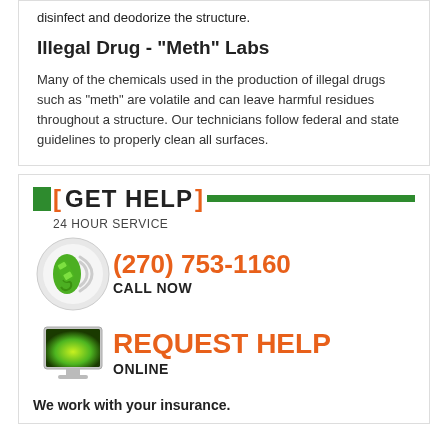disinfect and deodorize the structure.
Illegal Drug - "Meth" Labs
Many of the chemicals used in the production of illegal drugs such as "meth" are volatile and can leave harmful residues throughout a structure. Our technicians follow federal and state guidelines to properly clean all surfaces.
[ GET HELP ] 24 HOUR SERVICE
(270) 753-1160 CALL NOW
[Figure (illustration): Green phone handset with wireless signal waves inside a circular gray/white background]
[Figure (illustration): Computer monitor with green glowing screen]
REQUEST HELP ONLINE
We work with your insurance.